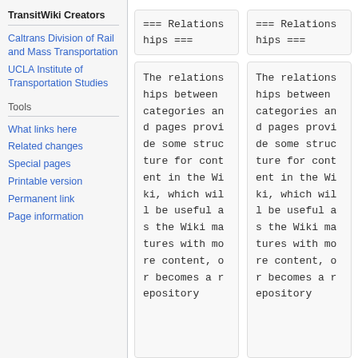TransitWiki Creators
Caltrans Division of Rail and Mass Transportation
UCLA Institute of Transportation Studies
Tools
What links here
Related changes
Special pages
Printable version
Permanent link
Page information
=== Relationships ===
=== Relationships ===
The relationships between categories and pages provide some structure for content in the Wiki, which will be useful as the Wiki matures with more content, or becomes a repository
The relationships between categories and pages provide some structure for content in the Wiki, which will be useful as the Wiki matures with more content, or becomes a repository